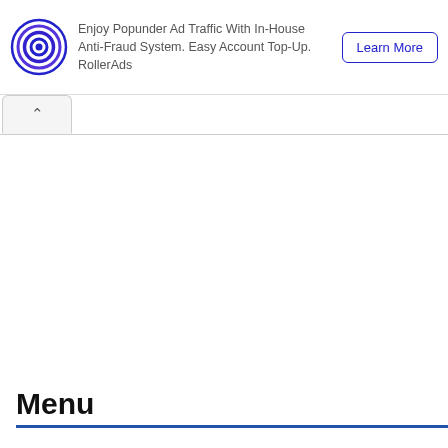[Figure (logo): RollerAds circular target/bullseye logo in blue and purple concentric circles]
Enjoy Popunder Ad Traffic With In-House Anti-Fraud System. Easy Account Top-Up. RollerAds
Learn More
^
Menu